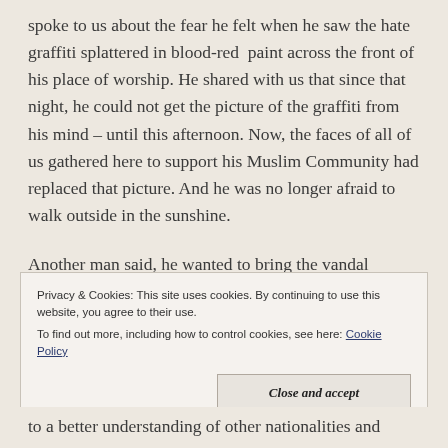spoke to us about the fear he felt when he saw the hate graffiti splattered in blood-red paint across the front of his place of worship. He shared with us that since that night, he could not get the picture of the graffiti from his mind – until this afternoon. Now, the faces of all of us gathered here to support his Muslim Community had replaced that picture. And he was no longer afraid to walk outside in the sunshine.
Another man said, he wanted to bring the vandal
Privacy & Cookies: This site uses cookies. By continuing to use this website, you agree to their use.
To find out more, including how to control cookies, see here: Cookie Policy
Close and accept
to a better understanding of other nationalities and